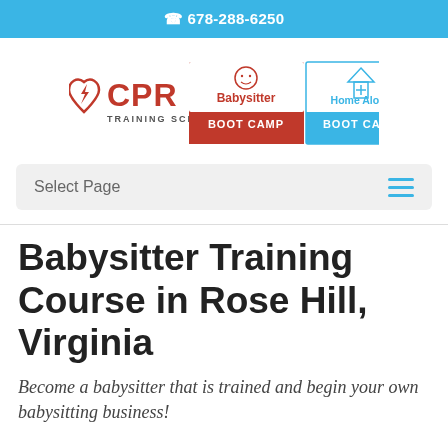678-288-6250
[Figure (logo): CPR Training School logo combined with Babysitter Boot Camp and Home Alone Boot Camp logos]
Select Page
Babysitter Training Course in Rose Hill, Virginia
Become a babysitter that is trained and begin your own babysitting business!